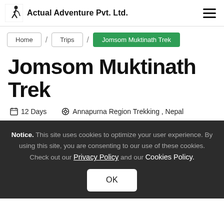Actual Adventure Pvt. Ltd.
Home / Trips / Jomsom Muktinath Trek
Jomsom Muktinath Trek
12 Days   Annapurna Region Trekking , Nepal
Notice. This site uses cookies to optimize your user experience. By using this site, you are consenting to our use of these cookies. Check out our Privacy Policy and our Cookies Policy.
OK